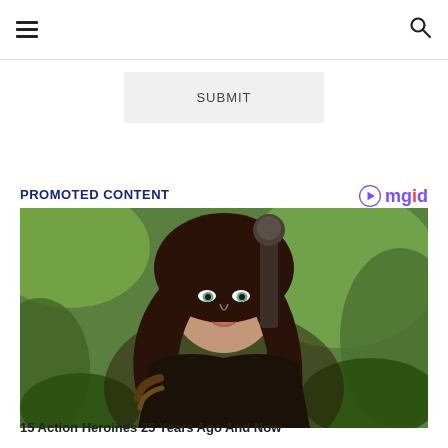Navigation header with hamburger menu and search icon
SUBMIT
PROMOTED CONTENT
[Figure (photo): A woman with long dark hair and bangs in an outdoor setting with green foliage, holding or near a large sword. Action heroine character.]
15 Action Heroines 25 Years Ago And Now